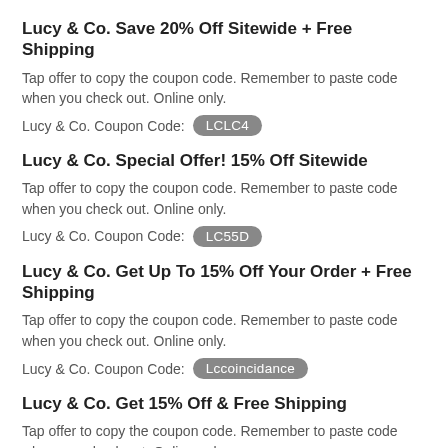Lucy & Co. Save 20% Off Sitewide + Free Shipping
Tap offer to copy the coupon code. Remember to paste code when you check out. Online only.
Lucy & Co. Coupon Code: LCLC4
Lucy & Co. Special Offer! 15% Off Sitewide
Tap offer to copy the coupon code. Remember to paste code when you check out. Online only.
Lucy & Co. Coupon Code: LC55D
Lucy & Co. Get Up To 15% Off Your Order + Free Shipping
Tap offer to copy the coupon code. Remember to paste code when you check out. Online only.
Lucy & Co. Coupon Code: Lccoincidance
Lucy & Co. Get 15% Off & Free Shipping
Tap offer to copy the coupon code. Remember to paste code when you check out. Online only.